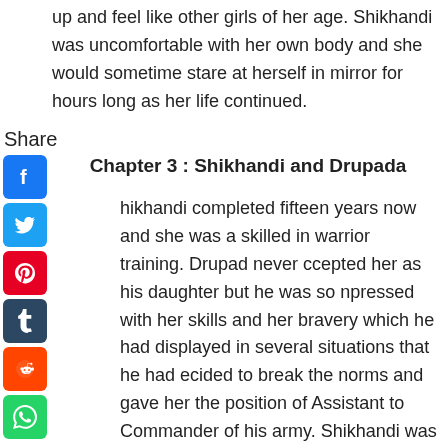up and feel like other girls of her age. Shikhandi was uncomfortable with her own body and she would sometime stare at herself in mirror for hours long as her life continued.
Share
Chapter 3 : Shikhandi and Drupada
hikhandi completed fifteen years now and she was a skilled in warrior training. Drupad never ccepted her as his daughter but he was so npressed with her skills and her bravery which he had displayed in several situations that he had ecided to break the norms and gave her the position of Assistant to Commander of his army. Shikhandi was happy and could not ask for more. She wished to be close to her father and please